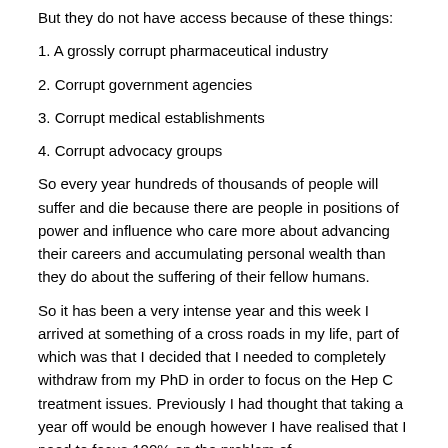But they do not have access because of these things:
1. A grossly corrupt pharmaceutical industry
2. Corrupt government agencies
3. Corrupt medical establishments
4. Corrupt advocacy groups
So every year hundreds of thousands of people will suffer and die because there are people in positions of power and influence who care more about advancing their careers and accumulating personal wealth than they do about the suffering of their fellow humans.
So it has been a very intense year and this week I arrived at something of a cross roads in my life, part of which was that I decided that I needed to completely withdraw from my PhD in order to focus on the Hep C treatment issues. Previously I had thought that taking a year off would be enough however I have realised that I need to focus 100% on the problem of